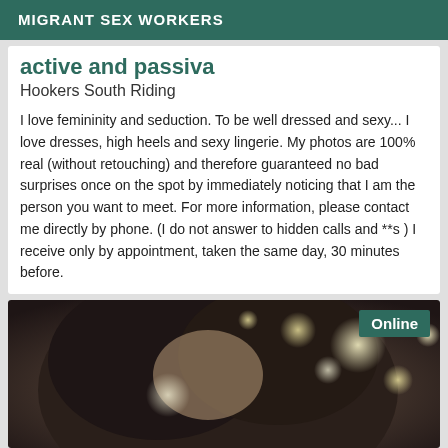MIGRANT SEX WORKERS
active and passiva
Hookers South Riding
I love femininity and seduction. To be well dressed and sexy... I love dresses, high heels and sexy lingerie. My photos are 100% real (without retouching) and therefore guaranteed no bad surprises once on the spot by immediately noticing that I am the person you want to meet. For more information, please contact me directly by phone. (I do not answer to hidden calls and **s ) I receive only by appointment, taken the same day, 30 minutes before.
[Figure (photo): Photo of a person with dark hair, partially visible, with bokeh light effects overlaid. An 'Online' badge appears in the top right corner.]